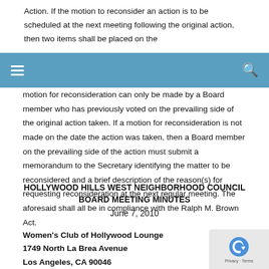Action. If the motion to reconsider an action is to be scheduled at the next meeting following the original action, then two items shall be placed on the
motion for reconsideration can only be made by a Board member who has previously voted on the prevailing side of the original action taken. If a motion for reconsideration is not made on the date the action was taken, then a Board member on the prevailing side of the action must submit a memorandum to the Secretary identifying the matter to be reconsidered and a brief description of the reason(s) for requesting reconsideration at the next regular meeting. The aforesaid shall all be in compliance with the Ralph M. Brown Act.
HOLLYWOOD HILLS WEST NEIGHBORHOOD COUNCIL BOARD MEETING MINUTES
June 7, 2010
Women's Club of Hollywood Lounge
1749 North La Brea Avenue
Los Angeles, CA 90046